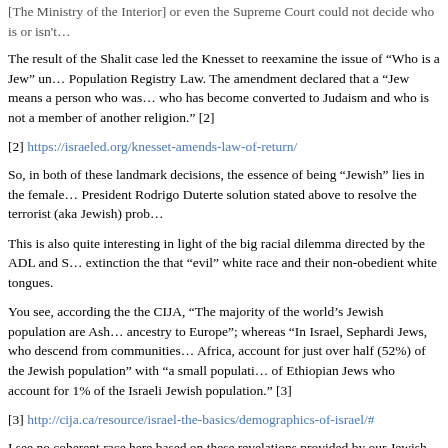[The Ministry of the Interior] or even the Supreme Court could not decide who is or isn't...
The result of the Shalit case led the Knesset to reexamine the issue of “Who is a Jew” under the Population Registry Law. The amendment declared that a “Jew means a person who was born of a Jewish mother or who has become converted to Judaism and who is not a member of another religion.” [2]
[2] https://israeled.org/knesset-amends-law-of-return/
So, in both of these landmark decisions, the essence of being “Jewish” lies in the female line. Hence the President Rodrigo Duterte solution stated above to resolve the terrorist (aka Jewish) prob…
This is also quite interesting in light of the big racial dilemma directed by the ADL and S… extinction the that “evil” white race and their non-obedient white tongues.
You see, according the the CIJA, “The majority of the world’s Jewish population are Ash… ancestry to Europe”; whereas “In Israel, Sephardi Jews, who descend from communities… Africa, account for just over half (52%) of the Jewish population” with “a small populati… of Ethiopian Jews who account for 1% of the Israeli Jewish population.” [3]
[3] http://cija.ca/resource/israel-the-basics/demographics-of-israel/#
I see no coherent race here based on these revelations provided by our Jewish “friends” a…
However, “The majority of Ashkenazi Jews are descended from prehistoric European wo… published today (October 8 ) in Nature Communications.” … But wait, there is more her… evidence from mitochondrial DNA, which is passed on exclusively from mother to child… ancestors of most modern Ashkenazi Jews converted to Judaism in the north Mediterrane… and later in west and central Europe.” [4]